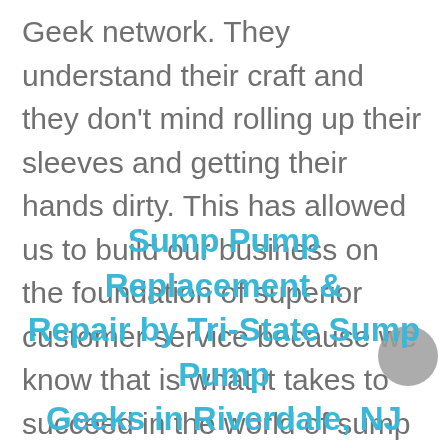Geek network. They understand their craft and they don't mind rolling up their sleeves and getting their hands dirty. This has allowed us to build our business on the foundation of superior customer service because we know that is what it takes to succeed in the world of sump pump maintenance.
Sump Pump Replacement & Repair by Tri-State Sump Pump Geeks in Riverdale, NJ